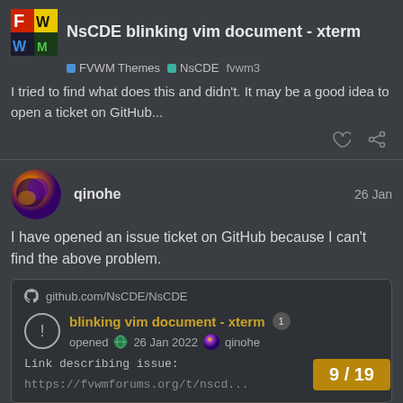NsCDE blinking vim document - xterm
FVWM Themes  NsCDE  fvwm3
I tried to find what does this and didn't. It may be a good idea to open a ticket on GitHub...
qinohe  26 Jan
I have opened an issue ticket on GitHub because I can't find the above problem.
github.com/NsCDE/NsCDE
blinking vim document - xterm  1
opened  26 Jan 2022  qinohe
Link describing issue:
https://fvwmforums.org/t/nscd...
9 / 19